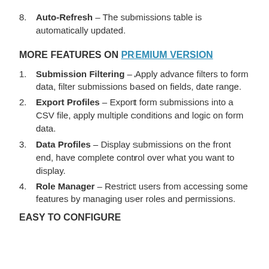8. Auto-Refresh – The submissions table is automatically updated.
MORE FEATURES ON PREMIUM VERSION
1. Submission Filtering – Apply advance filters to form data, filter submissions based on fields, date range.
2. Export Profiles – Export form submissions into a CSV file, apply multiple conditions and logic on form data.
3. Data Profiles – Display submissions on the front end, have complete control over what you want to display.
4. Role Manager – Restrict users from accessing some features by managing user roles and permissions.
EASY TO CONFIGURE